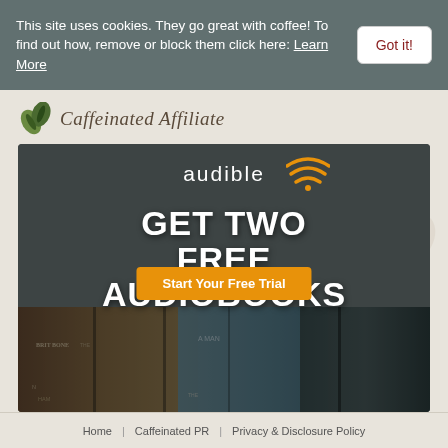This site uses cookies. They go great with coffee! To find out how, remove or block them click here: Learn More
Got it!
[Figure (logo): Caffeinated Affiliate site logo with coffee bean icon and italic serif text]
[Figure (infographic): Audible advertisement banner: dark background with audible logo and signal icon, large white bold text reading GET TWO FREE AUDIOBOOKS, orange CTA button Start Your Free Trial, book covers visible at bottom]
Home | Caffeinated PR | Privacy & Disclosure Policy